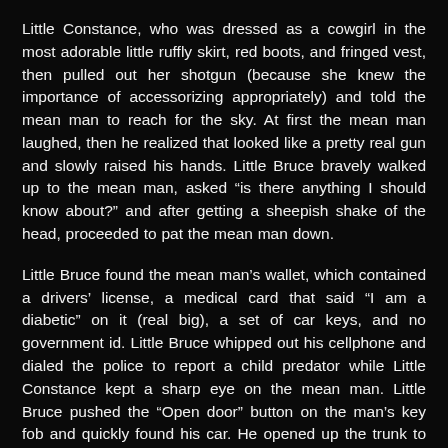Little Constance, who was dressed as a cowgirl in the most adorable little ruffly skirt, red boots, and fringed vest, then pulled out her shotgun (because she knew the importance of accessorizing appropriately) and told the mean man to reach for the sky. At first the mean man laughed, then he realized that looked like a pretty real gun and slowly raised his hands. Little Bruce bravely walked up to the mean man, asked “is there anything I should know about?” and after getting a sheepish shake of the head, proceeded to pat the mean man down.
Little Bruce found the mean man’s wallet, which contained a drivers’ license, a medical card that said “I am a diabetic” on it (real big), a set of car keys, and no government id. Little Bruce whipped out his cellphone and dialed the police to report a child predator while Little Constance kept a sharp eye on the mean man. Little Bruce pushed the “Open door” button on the man’s key fob and quickly found his car. He opened up the trunk to discover bags and bag of candy, all stolen by the mean man from tiny Trick-or-Treaters.